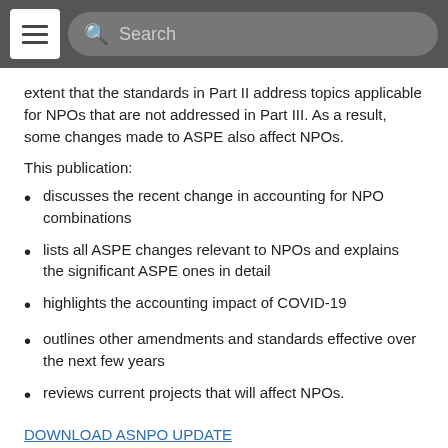Search
extent that the standards in Part II address topics applicable for NPOs that are not addressed in Part III. As a result, some changes made to ASPE also affect NPOs.
This publication:
discusses the recent change in accounting for NPO combinations
lists all ASPE changes relevant to NPOs and explains the significant ASPE ones in detail
highlights the accounting impact of COVID-19
outlines other amendments and standards effective over the next few years
reviews current projects that will affect NPOs.
DOWNLOAD ASNPO UPDATE